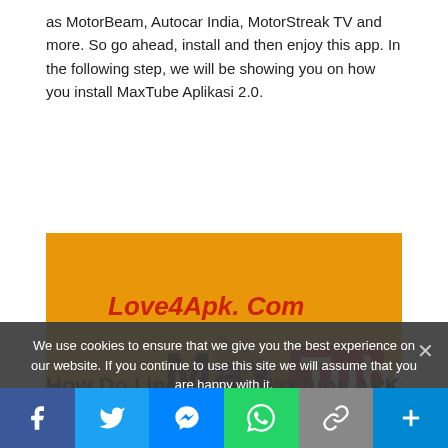as MotorBeam, Autocar India, MotorStreak TV and more. So go ahead, install and then enjoy this app. In the following step, we will be showing you on how you install MaxTube Aplikasi 2.0.
[Figure (illustration): MaxTube APK logo image on orange background. Shows 'Love4Apk.Com' text in red italic, 'Max' in bold black and 'Tube' in white on a red rounded rectangle, and 'APK' in bold black below.]
MaxTube APK 4.0
How Do I Install the MaxTube APK 2019 Versi 4.0 & 2.0?